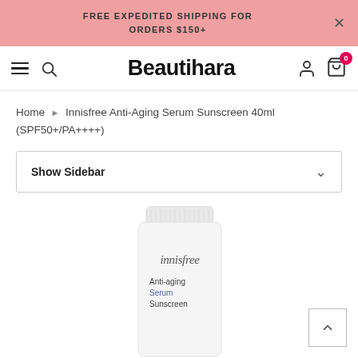FREE EXPEDITED SHIPPING FOR ORDERS $150+
[Figure (screenshot): Beautihara e-commerce website navigation bar with hamburger menu, search icon, logo, user icon, and cart icon showing 0 items]
Home › Innisfree Anti-Aging Serum Sunscreen 40ml (SPF50+/PA++++)
Show Sidebar
[Figure (photo): Innisfree Anti-aging Serum Sunscreen product tube, white packaging with innisfree brand name and product description text in blue]